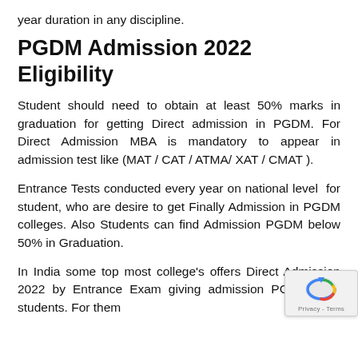year duration in any discipline.
PGDM Admission 2022 Eligibility
Student should need to obtain at least 50% marks in graduation for getting Direct admission in PGDM. For Direct Admission MBA is mandatory to appear in admission test like (MAT / CAT / ATMA/ XAT / CMAT ).
Entrance Tests conducted every year on national level  for student, who are desire to get Finally Admission in PGDM colleges. Also Students can find Admission PGDM below 50% in Graduation.
In India some top most college's offers Direct Admission 2022 by Entrance Exam giving admission PGDM  to students. For them